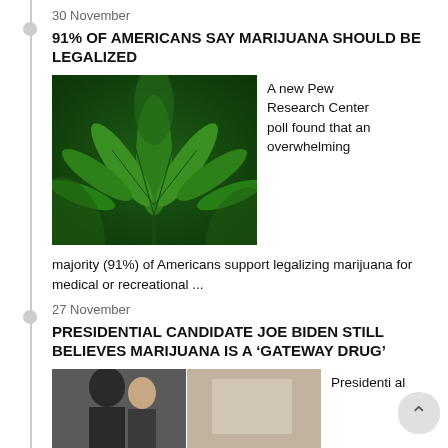30 November
91% OF AMERICANS SAY MARIJUANA SHOULD BE LEGALIZED
[Figure (photo): Close-up photograph of green cannabis/marijuana plant leaves]
A new Pew Research Center poll found that an overwhelming majority (91%) of Americans support legalizing marijuana for medical or recreational ...
27 November
PRESIDENTIAL CANDIDATE JOE BIDEN STILL BELIEVES MARIJUANA IS A ‘GATEWAY DRUG’
[Figure (photo): Two photos side by side showing political figures, partially visible at bottom of page]
Presidential candidate ...